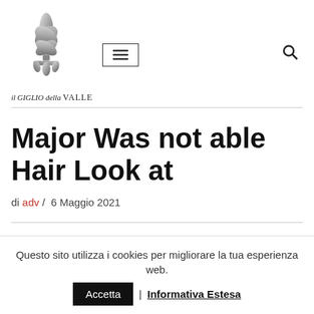[Figure (logo): Fleur-de-lis silver/grey metallic logo with text 'il GIGLIO della VALLE' below]
Major Was not able Hair Look at
di adv / 6 Maggio 2021
Questo sito utilizza i cookies per migliorare la tua esperienza web. Accetta | Informativa Estesa